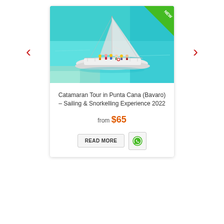[Figure (photo): Aerial view of a white catamaran sailing in bright turquoise Caribbean waters near Punta Cana. Several passengers are visible on deck. A 'NEW' green ribbon badge is in the top-right corner.]
Catamaran Tour in Punta Cana (Bavaro) – Sailing & Snorkelling Experience 2022
from $65
READ MORE